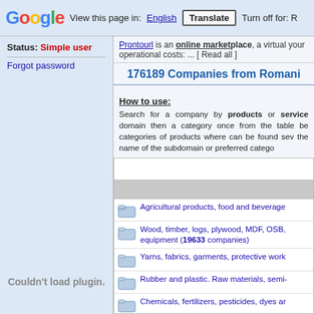Google | View this page in: English | Translate | Turn off for: R
Status: Simple user
Forgot password
Prontourl is an online marketplace, a virtual... your operational costs: ... [ Read all ]
176189 Companies from Romania
How to use:
Search for a company by products or services domain then a category once from the table below categories of products where can be found several the name of the subdomain or preferred category
Agricultural products, food and beverages
Wood, timber, logs, plywood, MDF, OSB, equipment (19633 companies)
Yarns, fabrics, garments, protective work
Rubber and plastic. Raw materials, semi-
Chemicals, fertilizers, pesticides, dyes ar
Building and civil engineering. Constructi
Couldn't load plugin.